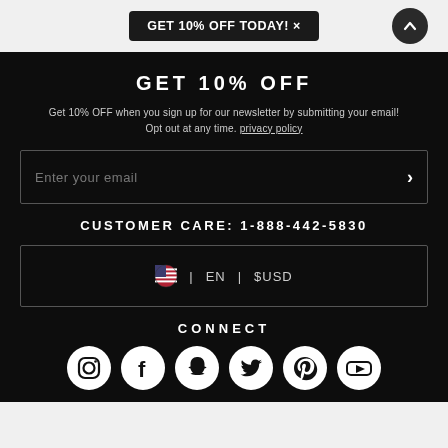[Figure (screenshot): Top bar with promotional popup banner reading 'GET 10% OFF TODAY! x' and a scroll-to-top button]
GET 10% OFF
Get 10% OFF when you sign up for our newsletter by submitting your email! Opt out at any time. privacy policy
Enter your email
CUSTOMER CARE: 1-888-442-5830
EN | $USD
CONNECT
[Figure (infographic): Social media icons: Instagram, Facebook, Snapchat, Twitter, Pinterest, YouTube]